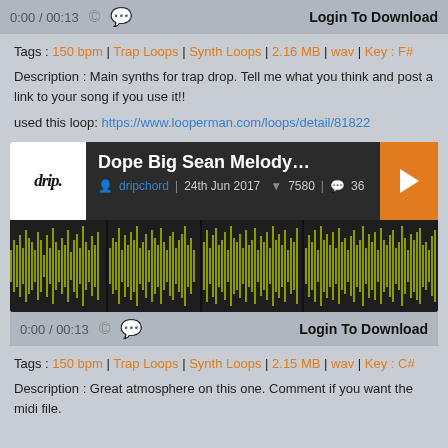0:00 / 00:13   Login To Download
Tags : 150 bpm | Trap Loops | Synth Loops | 2.16 MB | wav | Key : F#
Description : Main synths for trap drop. Tell me what you think and post a link to your song if you use it!!
used this loop: https://www.looperman.com/loops/detail/81822
[Figure (screenshot): Audio player card for 'Dope Big Sean Melody Loop' by dripchord, dated 24th Jun 2017, with 7580 downloads and 36 comments, showing a waveform visualization in olive/yellow-green color on dark background]
0:00 / 00:13   Login To Download
Tags : 150 bpm | Trap Loops | Synth Loops | 2.15 MB | wav | Key : C#
Description : Great atmosphere on this one. Comment if you want the midi file.